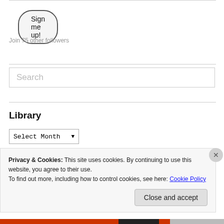[Figure (other): Sign me up! button — rounded pill-shaped button with dark border]
Join 75 other followers
[Figure (other): Search input box with placeholder text 'Search']
Library
[Figure (other): Select Month dropdown selector]
Privacy & Cookies: This site uses cookies. By continuing to use this website, you agree to their use.
To find out more, including how to control cookies, see here: Cookie Policy
[Figure (other): Close and accept button for cookie banner]